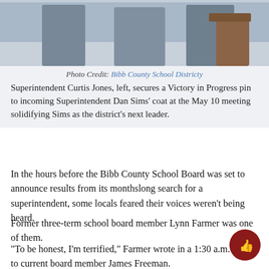[Figure (photo): Two or three people standing in what appears to be a school or government building, with a wooden podium visible on the right side of the frame.]
Photo Credit: Bibb County School Districty
Superintendent Curtis Jones, left, secures a Victory in Progress pin to incoming Superintendent Dan Sims' coat at the May 10 meeting solidifying Sims as the district's next leader.
In the hours before the Bibb County School Board was set to announce results from its monthslong search for a superintendent, some locals feared their voices weren't being heard.
Former three-term school board member Lynn Farmer was one of them.
“To be honest, I’m terrified,” Farmer wrote in a 1:30 a.m. email to current board member James Freeman.
Word spread that the board planned to name an outside candidate as finalist for the district’s top job, raising...